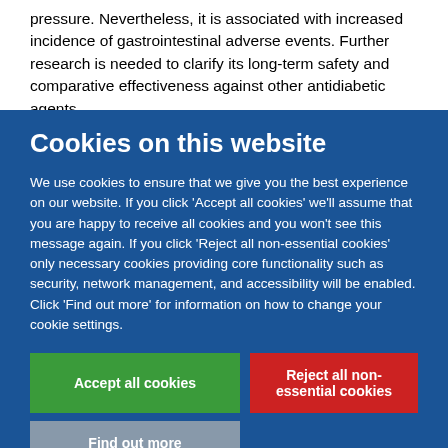pressure. Nevertheless, it is associated with increased incidence of gastrointestinal adverse events. Further research is needed to clarify its long-term safety and comparative effectiveness against other antidiabetic agents.
Cookies on this website
We use cookies to ensure that we give you the best experience on our website. If you click 'Accept all cookies' we'll assume that you are happy to receive all cookies and you won't see this message again. If you click 'Reject all non-essential cookies' only necessary cookies providing core functionality such as security, network management, and accessibility will be enabled. Click 'Find out more' for information on how to change your cookie settings.